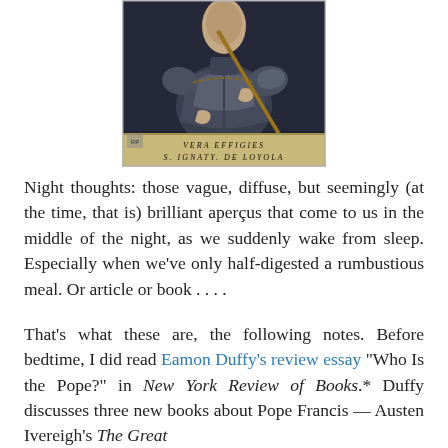[Figure (photo): Portrait painting of a figure in armor holding a staff, with text at bottom reading 'VERA EFFIGIES S. IGNATY DE LOYOLA']
Night thoughts: those vague, diffuse, but seemingly (at the time, that is) brilliant aperçus that come to us in the middle of the night, as we suddenly wake from sleep. Especially when we've only half-digested a rumbustious meal. Or article or book . . . .
That's what these are, the following notes. Before bedtime, I did read Eamon Duffy's review essay "Who Is the Pope?" in New York Review of Books.* Duffy discusses three new books about Pope Francis — Austen Ivereigh's The Great